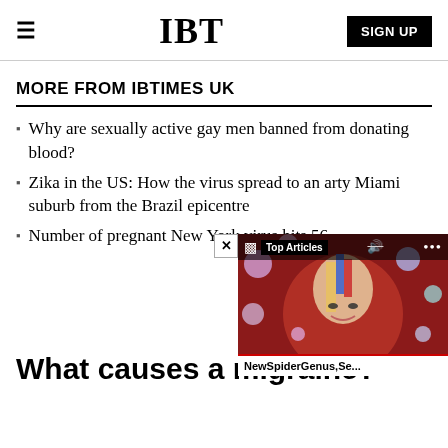IBT | SIGN UP
MORE FROM IBTIMES UK
Why are sexually active gay men banned from donating blood?
Zika in the US: How the virus spread to an arty Miami suburb from the Brazil epicentre
Number of pregnant New York virus hits 56
[Figure (screenshot): Video overlay popup showing a colorful artistic face image with toolbar reading 'Top Articles' and caption 'NewSpiderGenus,Se...']
What causes a migraine?